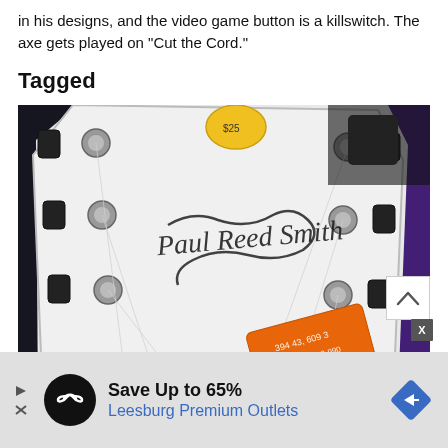in his designs, and the video game button is a killswitch. The axe gets played on “Cut the Cord.”
Tagged
[Figure (photo): Close-up photo of a Paul Reed Smith (PRS) guitar headstock showing tuning pegs, strings, signature inlay, and an orange price/ID tag hanging from it. A yellow guitar pick is visible at the top.]
Save Up to 65%
Leesburg Premium Outlets